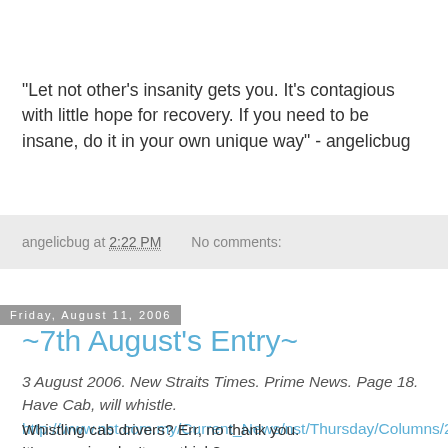"Let not other's insanity gets you. It's contagious with little hope for recovery. If you need to be insane, do it in your own unique way" - angelicbug
angelicbug at 2:22 PM   No comments:
Friday, August 11, 2006
~7th August's Entry~
3 August 2006. New Straits Times. Prime News. Page 18. Have Cab, will whistle.
http://www.nst.com.my/Current_News/nst/Thursday/Columns/20060803073857/Article/index_html
Whistling cab drivers? Err, no thank you.
It's annoying don't you think?